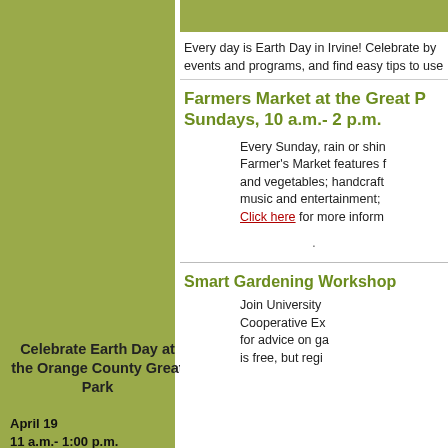Every day is Earth Day in Irvine! Celebrate by events and programs, and find easy tips to use
Farmers Market at the Great P... Sundays, 10 a.m.- 2 p.m.
Every Sunday, rain or shin... Farmer's Market features f... and vegetables; handcraft... music and entertainment; ... Click here for more inform...
Smart Gardening Workshop
Join University ... Cooperative Ex... for advice on ga... is free, but regi...
Celebrate Earth Day at the Orange County Great Park
April 19
11 a.m.- 1:00 p.m.
Celebrate Earth Day and learn about the benefits of environmental stewardship through hands-on crafts and activities that make caring for the planet